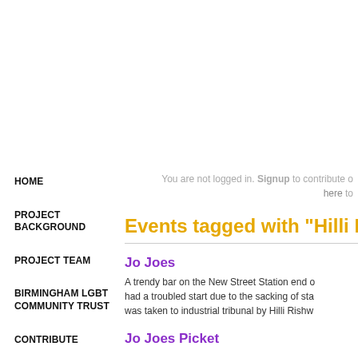HOME
PROJECT BACKGROUND
PROJECT TEAM
BIRMINGHAM LGBT COMMUNITY TRUST
CONTRIBUTE
CONTENT
You are not logged in. Signup to contribute or click here to
Events tagged with "Hilli R
Jo Joes
A trendy bar on the New Street Station end o had a troubled start due to the sacking of sta was taken to industrial tribunal by Hilli Rishw
Jo Joes Picket